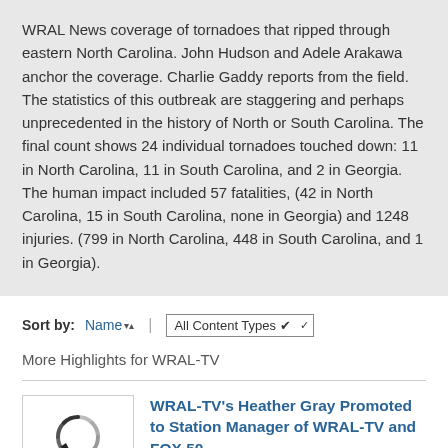WRAL News coverage of tornadoes that ripped through eastern North Carolina. John Hudson and Adele Arakawa anchor the coverage. Charlie Gaddy reports from the field. The statistics of this outbreak are staggering and perhaps unprecedented in the history of North or South Carolina. The final count shows 24 individual tornadoes touched down: 11 in North Carolina, 11 in South Carolina, and 2 in Georgia. The human impact included 57 fatalities, (42 in North Carolina, 15 in South Carolina, none in Georgia) and 1248 injuries. (799 in North Carolina, 448 in South Carolina, and 1 in Georgia).
Sort by: Name | All Content Types
More Highlights for WRAL-TV
[Figure (other): Thumbnail image placeholder with loading spinner icon]
WRAL-TV's Heather Gray Promoted to Station Manager of WRAL-TV and FOX 50